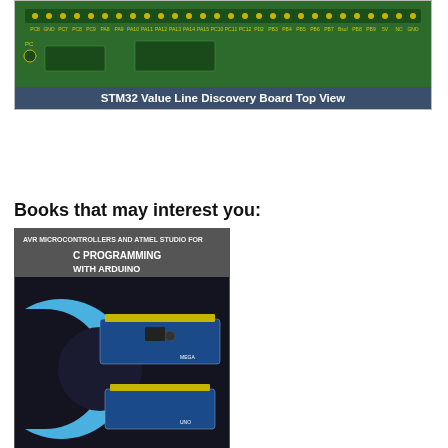[Figure (photo): STM32 Value Line Discovery Board top view — green PCB with pin headers along top edge, partial image]
STM32 Value Line Discovery Board Top View
Books that may interest you:
[Figure (photo): Book cover: AVR Microcontrollers and Atmel Studio for C Programming with Arduino — features a large blue C letter with Arduino boards (Mega and Uno) on a dark background]